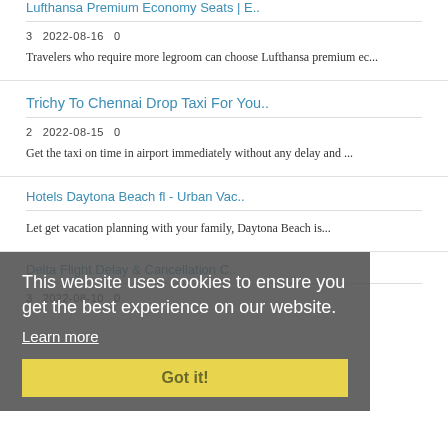Lufthansa Premium Economy Seats | E..
3   2022-08-16   0
Travelers who require more legroom can choose Lufthansa premium ec...
Trichy To Chennai Drop Taxi For You..
2   2022-08-15   0
Get the taxi on time in airport immediately without any delay and ...
Hotels Daytona Beach fl - Urban Vac..
This website uses cookies to ensure you get the best experience on our website.
Learn more
Got it!
Let get vacation planning with your family, Daytona Beach is...
Delta Flight Delay & Cancellation C..
3   2022-08-10   0